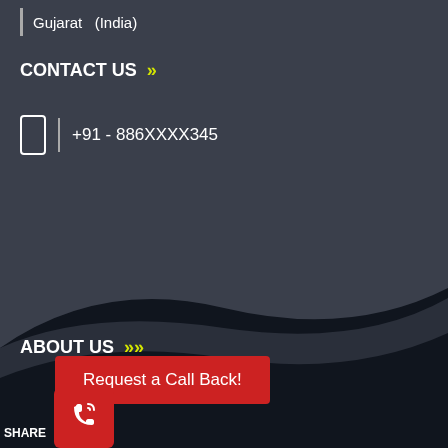Gujarat   (India)
CONTACT US »
+91 - 886XXXX345
ABOUT US »
Request a Call Back!
SHARE